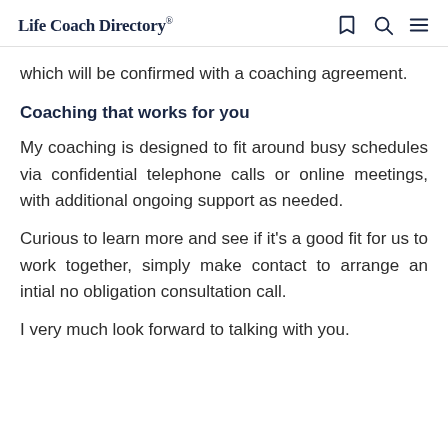Life Coach Directory®
which will be confirmed with a coaching agreement.
Coaching that works for you
My coaching is designed to fit around busy schedules via confidential telephone calls or online meetings, with additional ongoing support as needed.
Curious to learn more and see if it's a good fit for us to work together, simply make contact to arrange an intial no obligation consultation call.
I very much look forward to talking with you.